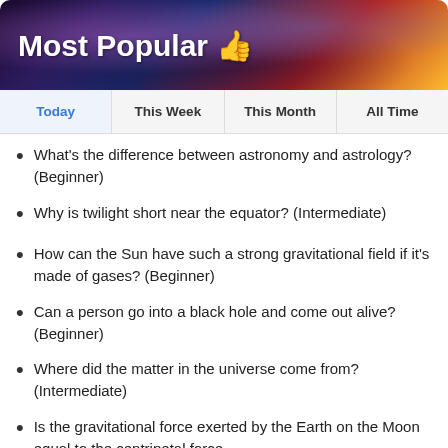Most Popular 👍
Today | This Week | This Month | All Time
What's the difference between astronomy and astrology? (Beginner)
Why is twilight short near the equator? (Intermediate)
How can the Sun have such a strong gravitational field if it's made of gases? (Beginner)
Can a person go into a black hole and come out alive? (Beginner)
Where did the matter in the universe come from? (Intermediate)
Is the gravitational force exerted by the Earth on the Moon equal to the centripetal force